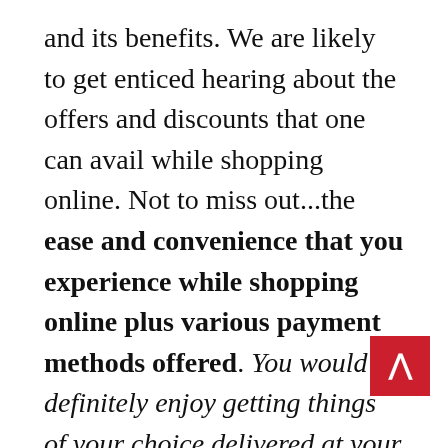and its benefits. We are likely to get enticed hearing about the offers and discounts that one can avail while shopping online. Not to miss out...the ease and convenience that you experience while shopping online plus various payment methods offered. You would definitely enjoy getting things of your choice delivered at your doorstep that too without bearing any additional cost. Right!

You can fill up your online shopping cart with a whole range of exclusive products may it be clothing, shoes, accessories, electronics, gadgets, home furnishing and what not. This is f a product...and you can get the same at different online shopping portals that also by availing